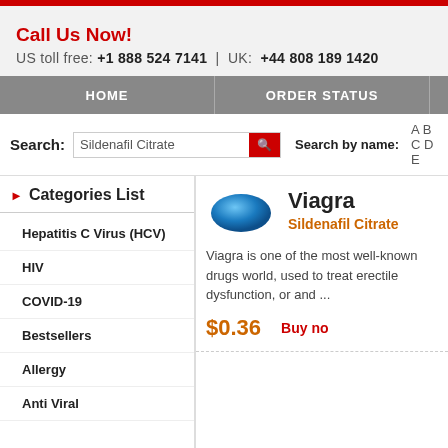Call Us Now!
US toll free: +1 888 524 7141 | UK: +44 808 189 1420
HOME | ORDER STATUS
Search: Sildenafil Citrate | Search by name: A B C D E
Categories List
Hepatitis C Virus (HCV)
HIV
COVID-19
Bestsellers
Allergy
Anti Viral
Viagra
Sildenafil Citrate
Viagra is one of the most well-known drugs world, used to treat erectile dysfunction, or and ...
$0.36
Buy no